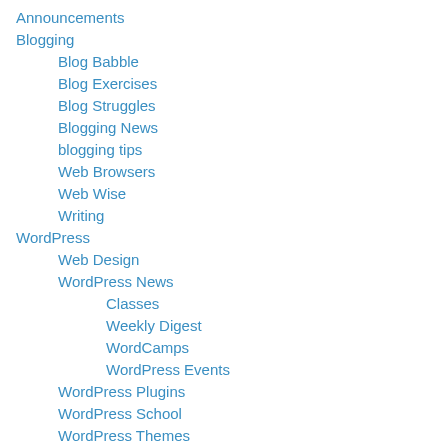Announcements
Blogging
Blog Babble
Blog Exercises
Blog Struggles
Blogging News
blogging tips
Web Browsers
Web Wise
Writing
WordPress
Web Design
WordPress News
Classes
Weekly Digest
WordCamps
WordPress Events
WordPress Plugins
WordPress School
WordPress Themes